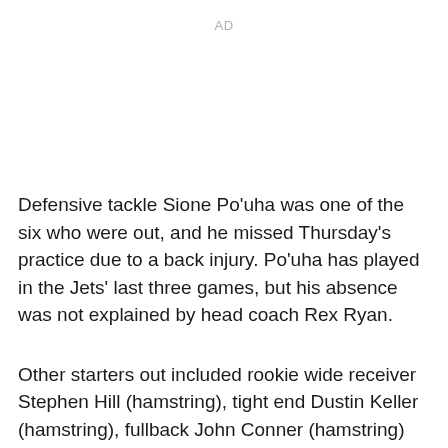AD
Defensive tackle Sione Po'uha was one of the six who were out, and he missed Thursday's practice due to a back injury. Po'uha has played in the Jets' last three games, but his absence was not explained by head coach Rex Ryan.
Other starters out included rookie wide receiver Stephen Hill (hamstring), tight end Dustin Keller (hamstring), fullback John Conner (hamstring) linebacker Bart Scott (toe) and linebacker Bryan Thomas (hamstring).